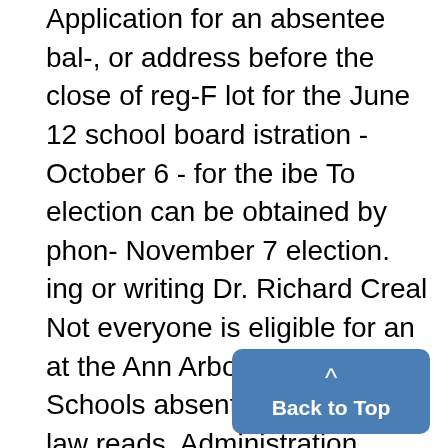Application for an absentee bal-, or address before the close of reg-F lot for the June 12 school board istration - October 6 - for the ibe To election can be obtained by phon- November 7 election. ing or writing Dr. Richard Creal Not everyone is eligible for an at the Ann Arbor Public Schools absentee ballot. State law reads, Administration Bldg., 2555 S. that those "persons who have GLThe May 16 election ballots w of residence therein, and